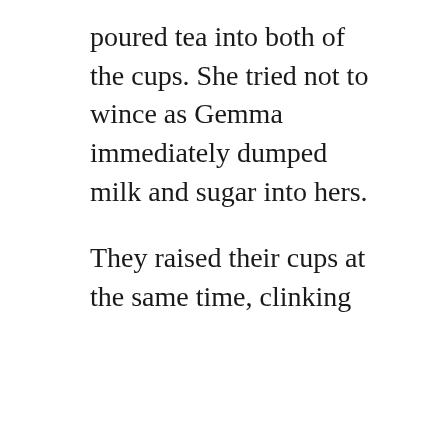poured tea into both of the cups. She tried not to wince as Gemma immediately dumped milk and sugar into hers.
They raised their cups at the same time, clinking